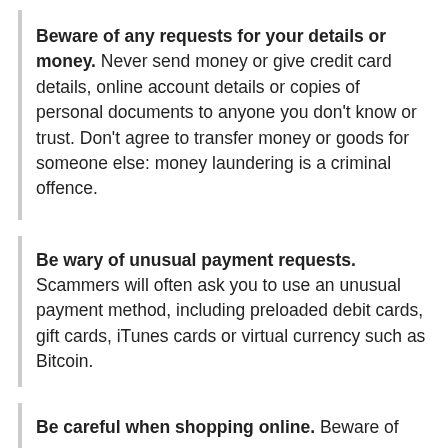Beware of any requests for your details or money. Never send money or give credit card details, online account details or copies of personal documents to anyone you don't know or trust. Don't agree to transfer money or goods for someone else: money laundering is a criminal offence.
Be wary of unusual payment requests. Scammers will often ask you to use an unusual payment method, including preloaded debit cards, gift cards, iTunes cards or virtual currency such as Bitcoin.
Be careful when shopping online. Beware of